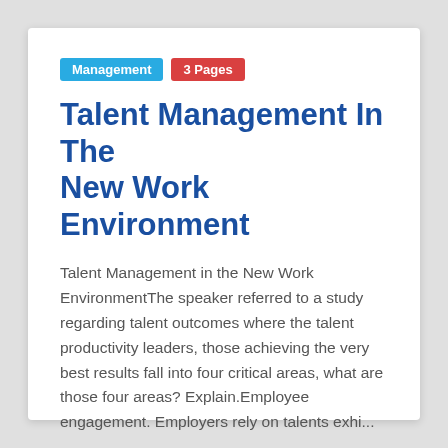Management
3 Pages
Talent Management In The New Work Environment
Talent Management in the New Work EnvironmentThe speaker referred to a study regarding talent outcomes where the talent productivity leaders, those achieving the very best results fall into four critical areas, what are those four areas? Explain.Employee engagement. Employers rely on talents exhi...
$7.00
VIEW PAPER